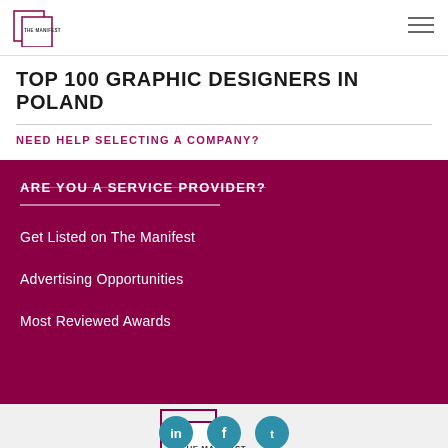THE MANIFEST
TOP 100 GRAPHIC DESIGNERS IN POLAND
NEED HELP SELECTING A COMPANY?
ARE YOU A SERVICE PROVIDER?
Get Listed on The Manifest
Advertising Opportunities
Most Reviewed Awards
[Figure (logo): The Manifest logo — two overlapping squares with 'THE MANIFEST' text inside]
[Figure (infographic): Social media icons: LinkedIn, Facebook, Twitter in teal circles]